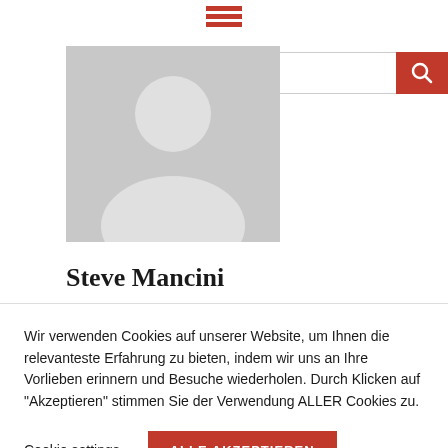[Figure (logo): Red hamburger menu icon with three horizontal red bars]
[Figure (screenshot): Search bar with placeholder text 'Suchen' and red search button with magnifying glass icon]
[Figure (photo): Grey placeholder profile image showing a silhouette of a person]
Steve Mancini
Wir verwenden Cookies auf unserer Website, um Ihnen die relevanteste Erfahrung zu bieten, indem wir uns an Ihre Vorlieben erinnern und Besuche wiederholen. Durch Klicken auf "Akzeptieren" stimmen Sie der Verwendung ALLER Cookies zu.
Cookie settings
ALLE AKZEPTIEREN